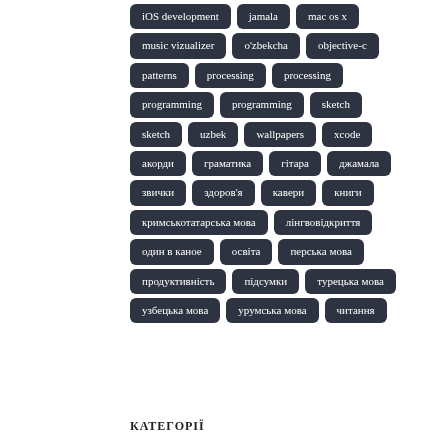iOS development
jamala
mac os x
music vizualizer
o'zbekcha
objective-c
patterns
processing
processing
programming
programming
sketch
sketch
uzbek
wallpapers
xcode
акорди
граматика
гітара
джамала
звички
здоров'я
кавери
книги
кримськотатарська мова
лінгвовідкриття
один в каное
освіта
перська мова
продуктивність
підсумки
турецька мова
узбецька мова
урумська мова
читання
КАТЕГОРІЇ